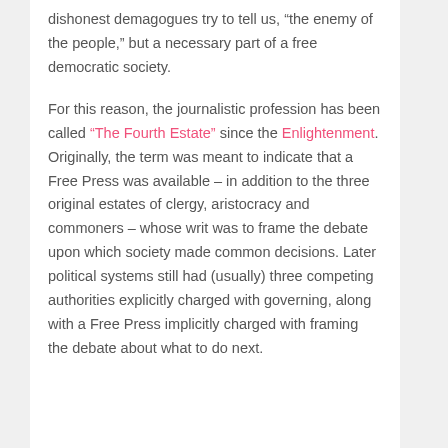dishonest demagogues try to tell us, “the enemy of the people,” but a necessary part of a free democratic society.
For this reason, the journalistic profession has been called “The Fourth Estate” since the Enlightenment. Originally, the term was meant to indicate that a Free Press was available – in addition to the three original estates of clergy, aristocracy and commoners – whose writ was to frame the debate upon which society made common decisions. Later political systems still had (usually) three competing authorities explicitly charged with governing, along with a Free Press implicitly charged with framing the debate about what to do next.